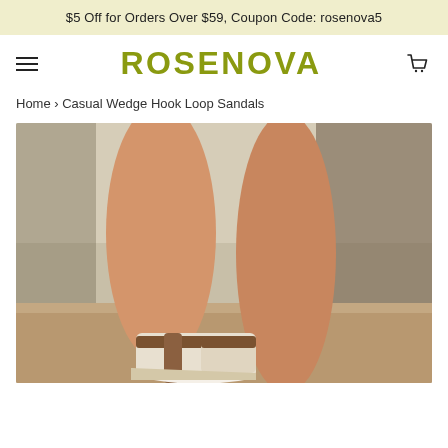$5 Off for Orders Over $59, Coupon Code: rosenova5
ROSENOVA
Home › Casual Wedge Hook Loop Sandals
[Figure (photo): Close-up photo of a woman's legs wearing casual wedge hook loop sandals outdoors on a brick/stone surface]